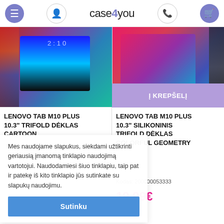case4you — navigation header with menu, profile, phone, cart icons
[Figure (photo): Left product: Lenovo Tab M10 Plus tablet with graffiti/cartoon case, shown from front angle]
LENOVO TAB M10 PLUS 10.3" TRIFOLD DĖKLAS CARTOON
[Figure (photo): Right product: Lenovo Tab M10 Plus tablet with colorful geometry silikoninis trifold case, propped open]
LENOVO TAB M10 PLUS 10.3" SILIKONINIS TRIFOLD DĖKLAS COLORFUL GEOMETRY
Kodas: 200000053333
19.99€
Mes naudojame slapukus, siekdami užtikrinti geriausią įmanomą tinklapio naudojimą vartotojui. Naudodamiesi šiuo tinklapiu, taip pat ir patekę iš kito tinklapio jūs sutinkate su slapukų naudojimu.
Sutinku
Į KREPŠELĮ